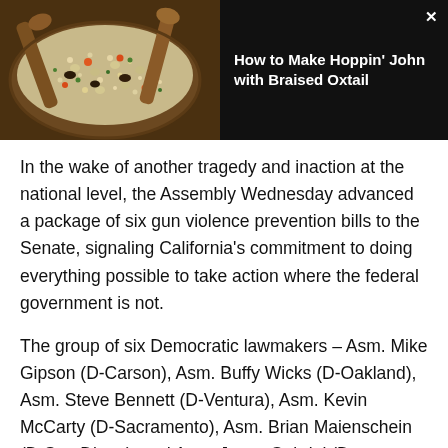[Figure (photo): A close-up photo of Hoppin' John dish with rice, black-eyed peas, carrots and green herbs in a bowl with wooden spoons, shown as an advertisement thumbnail on a dark background with the text 'How to Make Hoppin' John with Braised Oxtail']
In the wake of another tragedy and inaction at the national level, the Assembly Wednesday advanced a package of six gun violence prevention bills to the Senate, signaling California's commitment to doing everything possible to take action where the federal government is not.
The group of six Democratic lawmakers – Asm. Mike Gipson (D-Carson), Asm. Buffy Wicks (D-Oakland), Asm. Steve Bennett (D-Ventura), Asm. Kevin McCarty (D-Sacramento), Asm. Brian Maienschein (D-San Diego), and Asm. Jesse Gabriel (D-Woodland Hills) – together brought their bills to a vote on the Assembly Floor. The Members expressed impassioned frustration with Congress's failure to act on the issues of gun control and gun violence